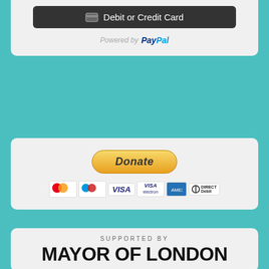[Figure (screenshot): Dark button with card icon and text 'Debit or Credit Card']
Powered by PayPal
[Figure (screenshot): PayPal Donate button with payment icons: MasterCard, Maestro, VISA, VISA Electron, American Express, Direct Debit]
[Figure (screenshot): SUPPORTED BY MAYOR OF LONDON logo block]
[Figure (screenshot): Social media icons row: Facebook, Twitter, LinkedIn, RSS, Email, Google+, Instagram, Pinterest, YouTube]